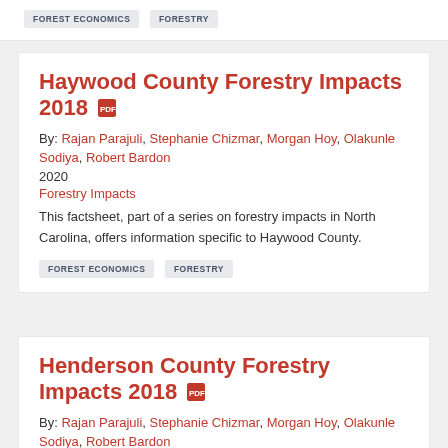FOREST ECONOMICS   FORESTRY
Haywood County Forestry Impacts 2018
By: Rajan Parajuli, Stephanie Chizmar, Morgan Hoy, Olakunle Sodiya, Robert Bardon
2020
Forestry Impacts
This factsheet, part of a series on forestry impacts in North Carolina, offers information specific to Haywood County.
FOREST ECONOMICS   FORESTRY
Henderson County Forestry Impacts 2018
By: Rajan Parajuli, Stephanie Chizmar, Morgan Hoy, Olakunle Sodiya, Robert Bardon
2020